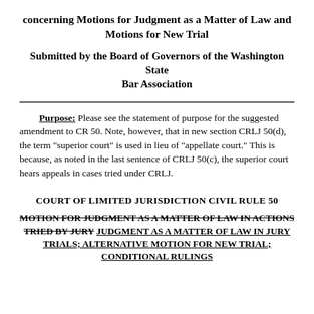concerning Motions for Judgment as a Matter of Law and Motions for New Trial
Submitted by the Board of Governors of the Washington State Bar Association
Purpose: Please see the statement of purpose for the suggested amendment to CR 50. Note, however, that in new section CRLJ 50(d), the term "superior court" is used in lieu of "appellate court." This is because, as noted in the last sentence of CRLJ 50(c), the superior court hears appeals in cases tried under CRLJ.
COURT OF LIMITED JURISDICTION CIVIL RULE 50
MOTION FOR JUDGMENT AS A MATTER OF LAW IN ACTIONS TRIED BY JURY JUDGMENT AS A MATTER OF LAW IN JURY TRIALS; ALTERNATIVE MOTION FOR NEW TRIAL; CONDITIONAL RULINGS